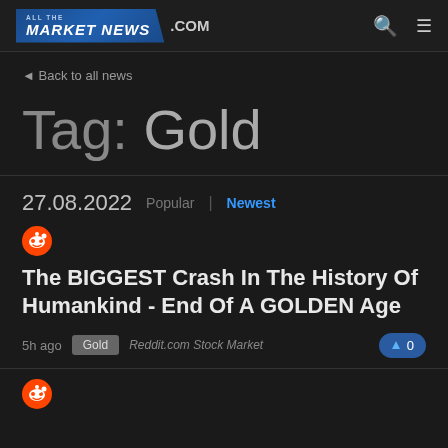ALL THE MARKET NEWS .COM
◀ Back to all news
Tag: Gold
27.08.2022   Popular | Newest
[Figure (logo): Reddit orange circle icon]
The BIGGEST Crash In The History Of Humankind - End Of A GOLDEN Age
5h ago   Gold   Reddit.com Stock Market   ▲ 0
[Figure (logo): Reddit orange circle icon (second article)]